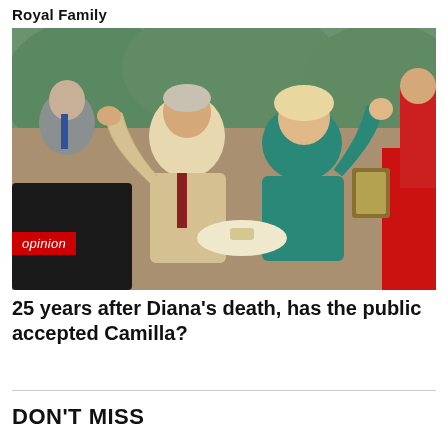Royal Family
[Figure (photo): King Charles III and Camilla, Queen Consort, waving from an open carriage during a public event. Both are smiling and waving. Charles wears a beige suit, Camilla wears a teal floral dress. Red-uniformed guards visible in background.]
opinion
25 years after Diana's death, has the public accepted Camilla?
DON'T MISS